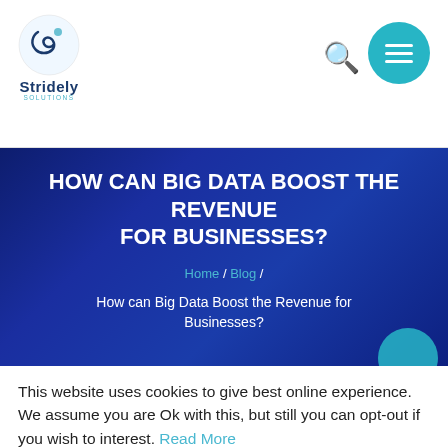[Figure (logo): Stridely Solutions logo with teal S icon and company name]
HOW CAN BIG DATA BOOST THE REVENUE FOR BUSINESSES?
Home / Blog / How can Big Data Boost the Revenue for Businesses?
This website uses cookies to give best online experience. We assume you are Ok with this, but still you can opt-out if you wish to interest. Read More
Accept | Decline | Cookie Settings